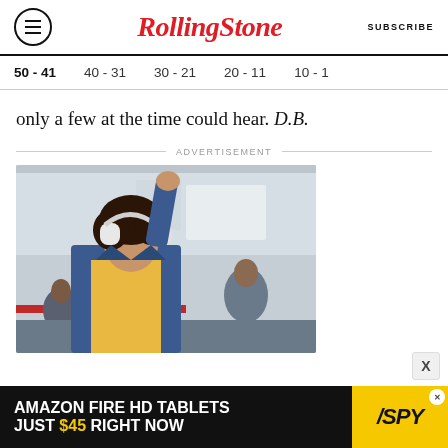Rolling Stone | SUBSCRIBE
50 - 41  40 - 31  30 - 21  20 - 11  10 - 1
only a few at the time could hear. D.B.
ADVERTISEMENT
[Figure (photo): Young woman with curly hair wearing white headphones and a denim jacket, seated on a subway train, raising one arm]
[Figure (infographic): Advertisement banner: AMAZON FIRE HD TABLETS JUST $45 RIGHT NOW with SPY logo on yellow background]